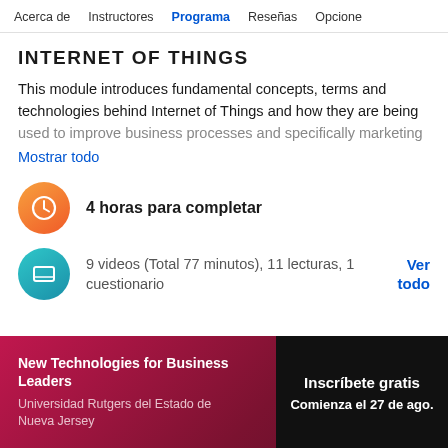Acerca de   Instructores   Programa   Reseñas   Opcione
INTERNET OF THINGS
This module introduces fundamental concepts, terms and technologies behind Internet of Things and how they are being used to improve business processes and specifically marketing
Mostrar todo
4 horas para completar
9 videos (Total 77 minutos), 11 lecturas, 1 cuestionario
Ver todo
New Technologies for Business Leaders
Universidad Rutgers del Estado de Nueva Jersey
Inscríbete gratis
Comienza el 27 de ago.